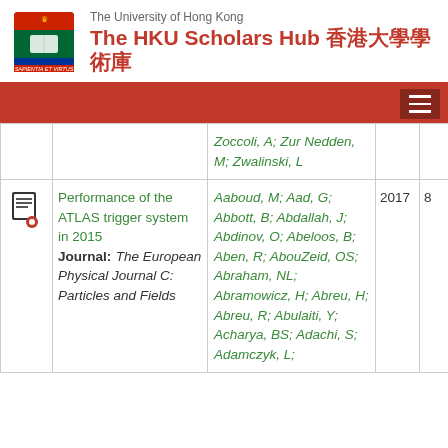The University of Hong Kong — The HKU Scholars Hub 香港大學學術庫
|  | Title/Journal | Authors | Year |  |
| --- | --- | --- | --- | --- |
|  |  | Zoccoli, A; Zur Nedden, M; Zwalinski, L |  |  |
| [icon] | Performance of the ATLAS trigger system in 2015 Journal: The European Physical Journal C: Particles and Fields | Aaboud, M; Aad, G; Abbott, B; Abdallah, J; Abdinov, O; Abeloos, B; Aben, R; AbouZeid, OS; Abraham, NL; Abramowicz, H; Abreu, H; Abreu, R; Abulaiti, Y; Acharya, BS; Adachi, S; Adamczyk, L; | 2017 | 8 |